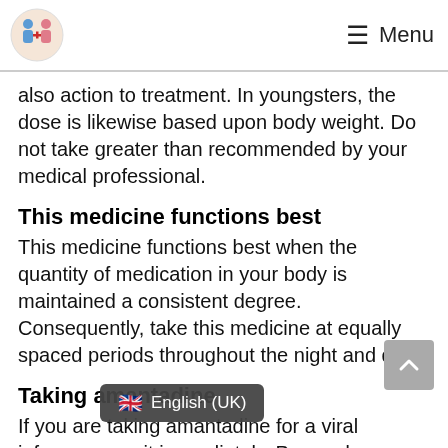Menu
also action to treatment. In youngsters, the dose is likewise based upon body weight. Do not take greater than recommended by your medical professional.
This medicine functions best
This medicine functions best when the quantity of medication in your body is maintained a consistent degree. Consequently, take this medicine at equally spaced periods throughout the night and day.
Taking amantadine
If you are taking amantadine for a viral infec it immediately. Proceed taki complete proposed